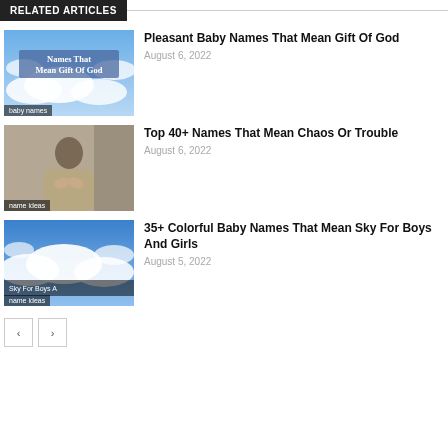RELATED ARTICLES
[Figure (photo): Thumbnail image with sky and clouds, overlay text 'Names That Mean Gift Of God', label 'baby names']
Pleasant Baby Names That Mean Gift Of God
August 6, 2022
[Figure (photo): Thumbnail image of a person in distress with hands clasped, label 'name ideas']
Top 40+ Names That Mean Chaos Or Trouble
August 6, 2022
[Figure (photo): Thumbnail image of sky and clouds with overlay text 'Sky For Boys A...', label 'name ideas']
35+ Colorful Baby Names That Mean Sky For Boys And Girls
August 5, 2022